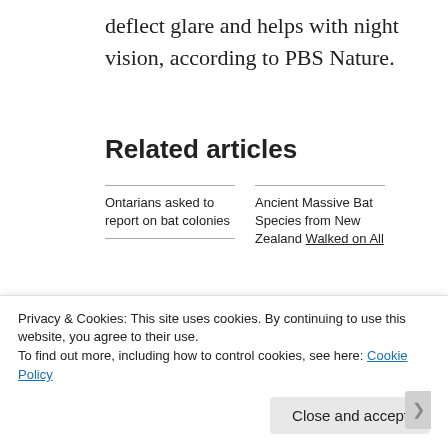deflect glare and helps with night vision, according to PBS Nature.
Related articles
Ontarians asked to report on bat colonies
Ancient Massive Bat Species from New Zealand Walked on All
Privacy & Cookies: This site uses cookies. By continuing to use this website, you agree to their use.
To find out more, including how to control cookies, see here: Cookie Policy
Close and accept